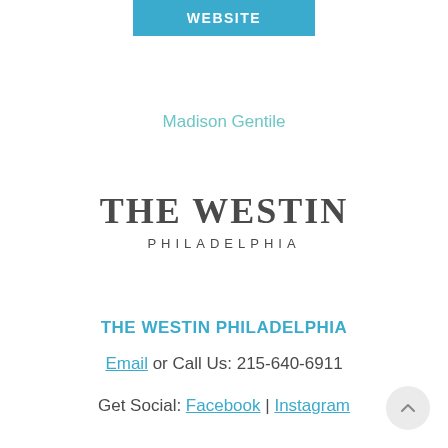[Figure (other): Blue button labeled WEBSITE]
Madison Gentile
[Figure (logo): The Westin Philadelphia logo — large serif text 'THE WESTIN' with 'PHILADELPHIA' below in spaced caps]
THE WESTIN PHILADELPHIA
Email or Call Us: 215-640-6911
Get Social: Facebook | Instagram